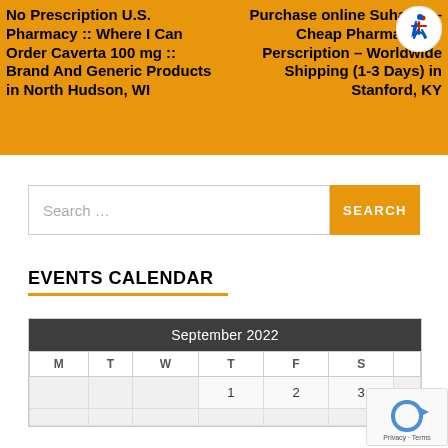No Prescription U.S. Pharmacy :: Where I Can Order Caverta 100 mg :: Brand And Generic Products in North Hudson, WI
Purchase online Suhagra – Cheap Pharmacy No Perscription – Worldwide Shipping (1-3 Days) in Stanford, KY
Search...
EVENTS CALENDAR
| M | T | W | T | F | S |
| --- | --- | --- | --- | --- | --- |
|  |  |  | 1 | 2 | 3 |